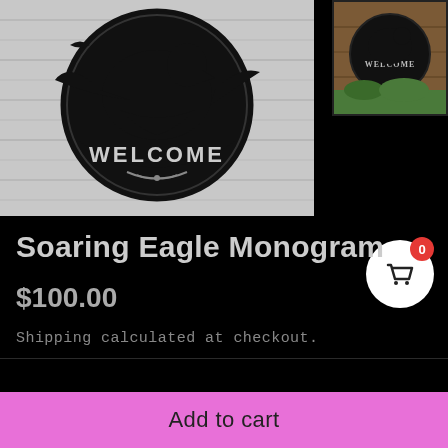[Figure (photo): A circular metal monogram sign with a soaring eagle and the word WELCOME, displayed against a white wood panel background, black silhouette art.]
[Figure (photo): Thumbnail image showing the monogram sign displayed on a wooden surface outdoors.]
Soaring Eagle Monogram
$100.00
Shipping calculated at checkout.
Add to cart